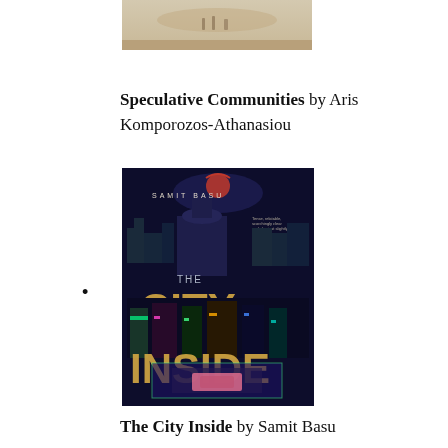[Figure (photo): Top portion of a hazy outdoor scene with figures in a sandy/dusty landscape]
Speculative Communities by Aris Komporozos-Athanasiou
[Figure (photo): Book cover of 'The City Inside' by Samit Basu — colorful illustrated aerial city scene with neon colors against a dark background]
•
The City Inside by Samit Basu